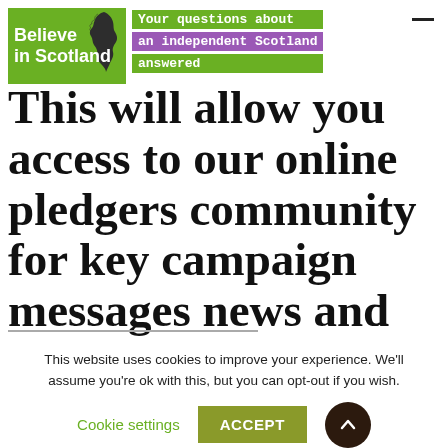[Figure (logo): Believe in Scotland logo with green background and Scotland map silhouette, accompanied by tagline 'Your questions about an independent Scotland answered' in green and purple banners]
This will allow you access to our online pledgers community for key campaign messages news and event details.
This website uses cookies to improve your experience. We'll assume you're ok with this, but you can opt-out if you wish.
Cookie settings   ACCEPT